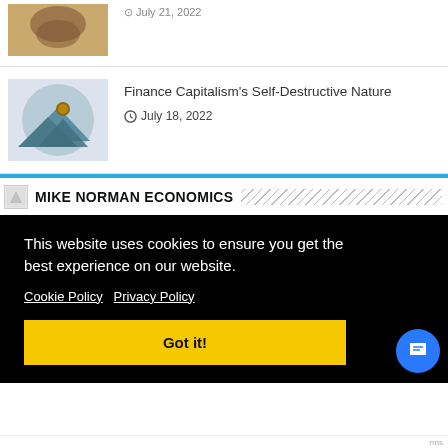[Figure (photo): Thumbnail image of article above (partially visible)]
Finance Capitalism's Self-Destructive Nature
July 18, 2022
MIKE NORMAN ECONOMICS
This website uses cookies to ensure you get the best experience on our website. Cookie Policy  Privacy Policy
Got it!